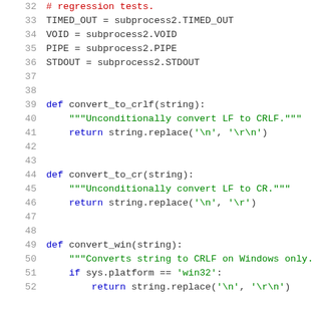[Figure (screenshot): Python source code snippet showing lines 32-52, including variable assignments (TIMED_OUT, VOID, PIPE, STDOUT) and three function definitions (convert_to_crlf, convert_to_cr, convert_win) with docstrings and return statements.]